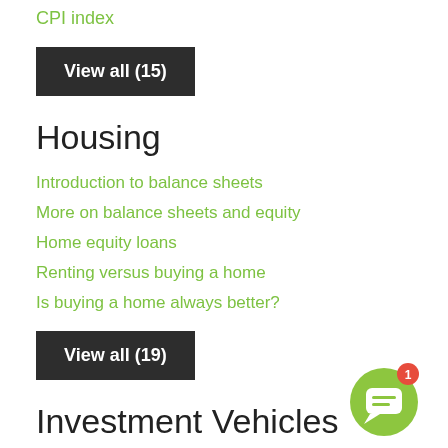CPI index
View all (15)
Housing
Introduction to balance sheets
More on balance sheets and equity
Home equity loans
Renting versus buying a home
Is buying a home always better?
View all (19)
Investment Vehicles
[Figure (other): Green chat bubble icon with red notification badge showing number 1]